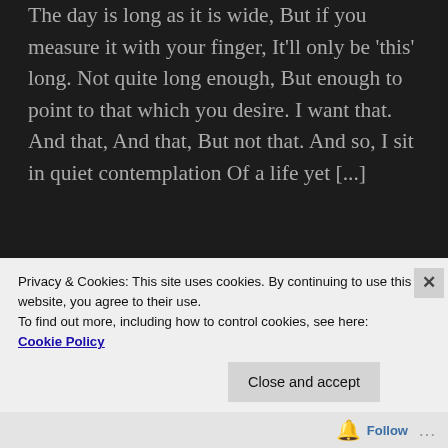The day is long as it is wide, But if you measure it with your finger, It'll only be 'this' long. Not quite long enough, But enough to point to that which you desire. I want that. And that, And that, But not that. And so, I sit in quiet contemplation Of a life yet [...]
Latest Posts: Raw, Naked Art
Working in Monochrome.
Privacy & Cookies: This site uses cookies. By continuing to use this website, you agree to their use.
To find out more, including how to control cookies, see here:
Cookie Policy
Close and accept
Follow